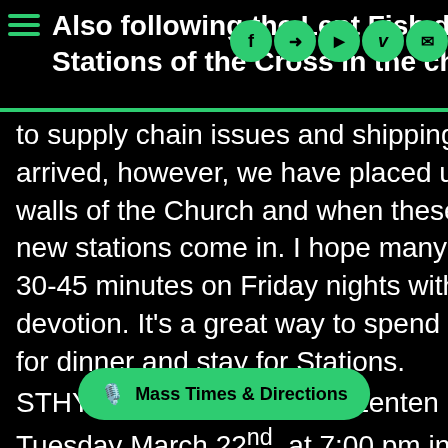Also following the Lent Fish dinners every F... Stations of the Cross in the church beginning...
to supply chain issues and shipping, the new arrived, however, we have placed up the old walls of the Church and when these will be re new stations come in. I hope many of you will 30-45 minutes on Friday nights with this popu devotion. It's a great way to spend a Friday e for dinner and stay for Stations.
STHY will have our annual Lenten Penance S Tuesday March 22nd at 7:00 pm in the Religi Building Classrooms. We will have multiple available for the Sacrament of Reconciliation encourage you to come and experience this m healing sacrament. Especially if you haven't b in a long time, now w... reconciled to God and the Church. It would b
Mass Times & Directions